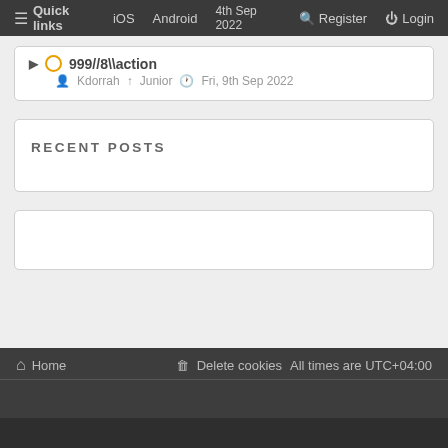☰ Quick links  iOS  Android  4th Sep 2022  Register  Login
▶ ○ 999//8\\action — Kdorrah ↑Junior ⊙ Fri, 9th Sep 2022
RECENT POSTS
⌂ Home   🗑 Delete cookies   All times are UTC+04:00